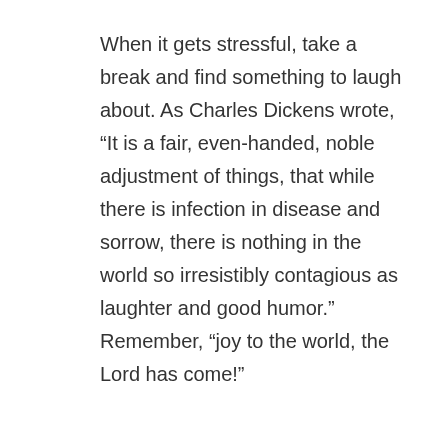When it gets stressful, take a break and find something to laugh about. As Charles Dickens wrote, “It is a fair, even-handed, noble adjustment of things, that while there is infection in disease and sorrow, there is nothing in the world so irresistibly contagious as laughter and good humor.” Remember, “joy to the world, the Lord has come!”